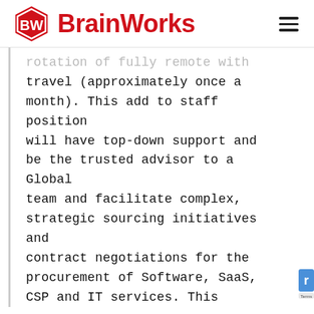BrainWorks
rotation of fully remote with travel (approximately once a month). This add to staff position will have top-down support and be the trusted advisor to a Global team and facilitate complex, strategic sourcing initiatives and contract negotiations for the procurement of Software, SaaS, CSP and IT services. This individual will lead teams of key cross-functional stakeholders through the strategic sourcing process and leverage purchasing